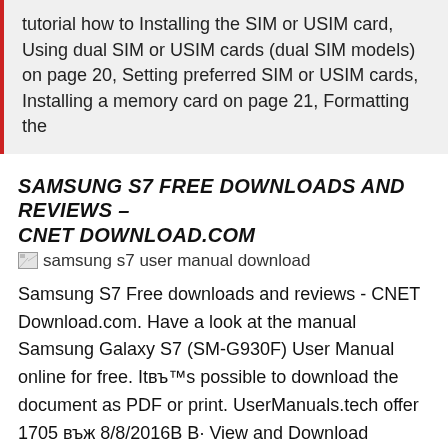tutorial how to Installing the SIM or USIM card, Using dual SIM or USIM cards (dual SIM models) on page 20, Setting preferred SIM or USIM cards, Installing a memory card on page 21, Formatting the
SAMSUNG S7 FREE DOWNLOADS AND REVIEWS – CNET DOWNLOAD.COM
[Figure (other): Broken image placeholder with alt text 'samsung s7 user manual download']
Samsung S7 Free downloads and reviews - CNET Download.com. Have a look at the manual Samsung Galaxy S7 (SM-G930F) User Manual online for free. Itвђ™s possible to download the document as PDF or print. UserManuals.tech offer 1705 вђ¦ 8/8/2016В В· View and Download Samsung Galaxy S7 SM-G930U User Manual. Samsung Galaxy S7 SM-G930U Unlocked user